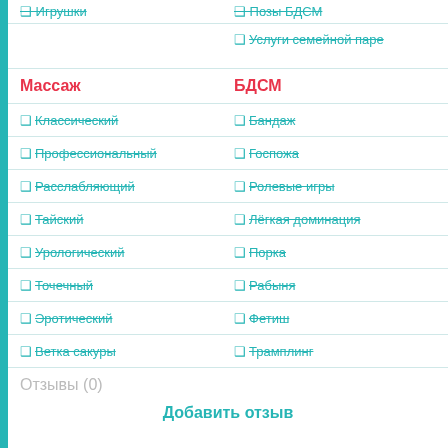Услуги семейной паре (strikethrough)
Массаж
БДСМ
Классический
Бандаж
Профессиональный
Госпожа
Расслабляющий
Ролевые игры
Тайский
Лёгкая доминация
Урологический
Порка
Точечный
Рабыня
Эротический
Фетиш
Ветка сакуры
Трамплинг
Отзывы (0)
Добавить отзыв